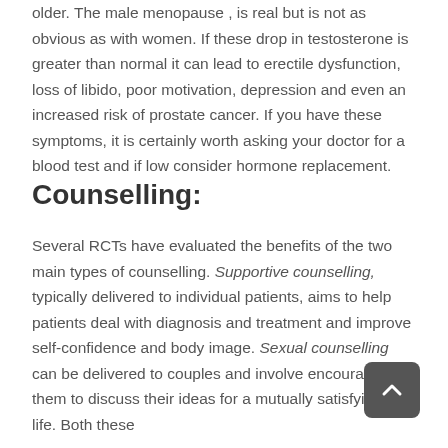older. The male menopause , is real but is not as obvious as with women. If these drop in testosterone is greater than normal it can lead to erectile dysfunction, loss of libido, poor motivation, depression and even an increased risk of prostate cancer. If you have these symptoms, it is certainly worth asking your doctor for a blood test and if low consider hormone replacement.
Counselling:
Several RCTs have evaluated the benefits of the two main types of counselling. Supportive counselling, typically delivered to individual patients, aims to help patients deal with diagnosis and treatment and improve self-confidence and body image. Sexual counselling can be delivered to couples and involve encouraging them to discuss their ideas for a mutually satisfying sex life. Both these